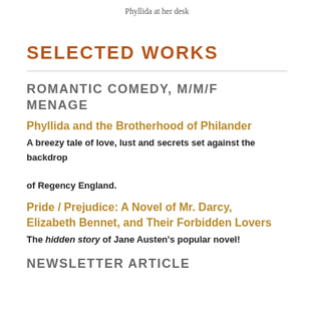Phyllida at her desk
SELECTED WORKS
ROMANTIC COMEDY, M/M/F MENAGE
Phyllida and the Brotherhood of Philander
A breezy tale of love, lust and secrets set against the backdrop of Regency England.
Pride / Prejudice: A Novel of Mr. Darcy, Elizabeth Bennet, and Their Forbidden Lovers
The hidden story of Jane Austen's popular novel!
NEWSLETTER ARTICLE